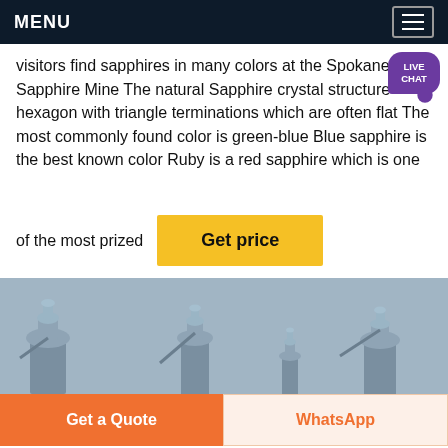MENU
visitors find sapphires in many colors at the Spokane Sapphire Mine The natural Sapphire crystal structure hexagon with triangle terminations which are often flat The most commonly found color is green-blue Blue sapphire is the best known color Ruby is a red sapphire which is one of the most prized
[Figure (other): Get price yellow button with 'Get price' text]
[Figure (photo): Row of industrial street lamp heads in grey/blue-grey color against a light blue sky, showing three lamp fixtures close up]
Get a Quote
WhatsApp